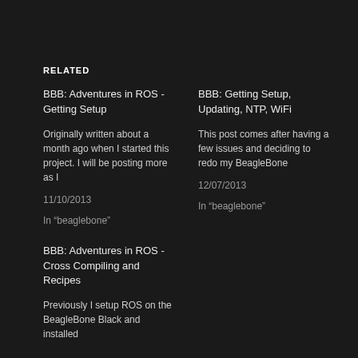RELATED
BBB: Adventures in ROS - Getting Setup
Originally written about a month ago when I started this project. I will be posting more as I
11/10/2013
In “beaglebone”
BBB: Getting Setup, Updating, NTP, WiFi
This post comes after having a few issues and deciding to redo my BeagleBone
12/07/2013
In “beaglebone”
BBB: Adventures in ROS - Cross Compiling and Recipes
Previously I setup ROS on the BeagleBone Black and installed